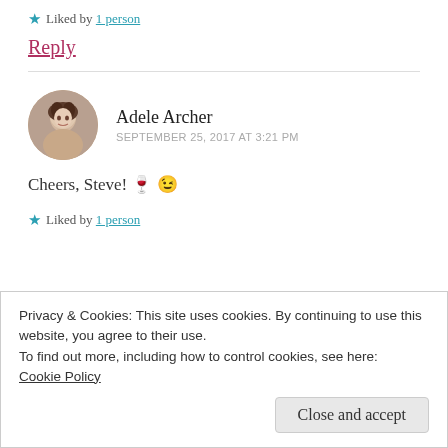★ Liked by 1 person
Reply
Adele Archer
SEPTEMBER 25, 2017 AT 3:21 PM
Cheers, Steve! 🍷 😉
★ Liked by 1 person
Privacy & Cookies: This site uses cookies. By continuing to use this website, you agree to their use.
To find out more, including how to control cookies, see here:
Cookie Policy
Close and accept